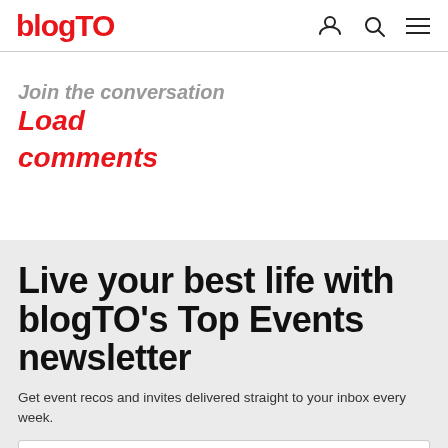blogTO
Join the conversation
Load
comments
Live your best life with blogTO's Top Events newsletter
Get event recos and invites delivered straight to your inbox every week.
Email address